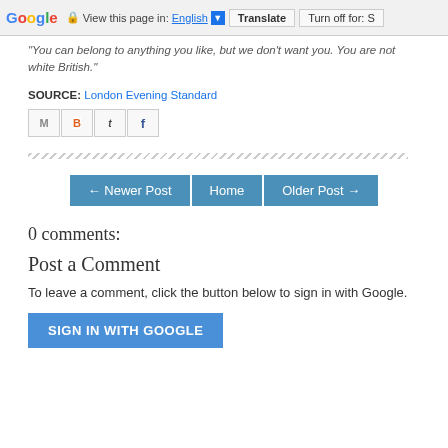Google | View this page in: English [▼] Translate | Turn off for: S
"You can belong to anything you like, but we don't want you. You are not white British."
SOURCE: London Evening Standard
[Figure (other): Social sharing icons: Gmail (M), Blogger (B), Twitter (t), Facebook (f)]
[Figure (other): Decorative diagonal-stripe divider line]
← Newer Post  Home  Older Post →
0 comments:
Post a Comment
To leave a comment, click the button below to sign in with Google.
SIGN IN WITH GOOGLE